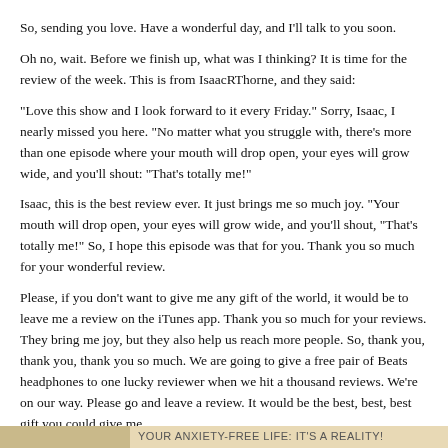So, sending you love. Have a wonderful day, and I'll talk to you soon.
Oh no, wait. Before we finish up, what was I thinking? It is time for the review of the week. This is from IsaacRThorne, and they said:
“Love this show and I look forward to it every Friday.” Sorry, Isaac, I nearly missed you here. “No matter what you struggle with, there’s more than one episode where your mouth will drop open, your eyes will grow wide, and you’ll shout: “That’s totally me!”
Isaac, this is the best review ever. It just brings me so much joy. “Your mouth will drop open, your eyes will grow wide, and you’ll shout, “That’s totally me!” So, I hope this episode was that for you. Thank you so much for your wonderful review.
Please, if you don’t want to give me any gift of the world, it would be to leave me a review on the iTunes app. Thank you so much for your reviews. They bring me joy, but they also help us reach more people. So, thank you, thank you, thank you so much. We are going to give a free pair of Beats headphones to one lucky reviewer when we hit a thousand reviews. We’re on our way. Please go and leave a review. It would be the best, best, best gift you could give me.
Have a wonderful day, everybody. And now I officially say, have a wonderful day and I will see you in the New Year.
YOUR ANXIETY-FREE LIFE: IT'S A REALITY!